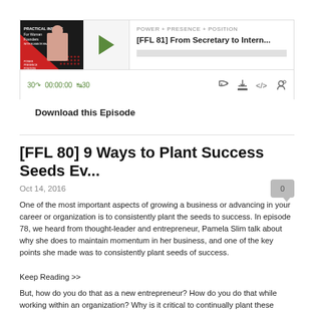[Figure (screenshot): Podcast player widget for 'Power + Presence + Position' show, episode [FFL 81] From Secretary to Intern... with play button, progress bar, and controls showing 00:00:00]
Download this Episode
[FFL 80] 9 Ways to Plant Success Seeds Ev...
Oct 14, 2016
One of the most important aspects of growing a business or advancing in your career or organization is to consistently plant the seeds to success. In episode 78, we heard from thought-leader and entrepreneur, Pamela Slim talk about why she does to maintain momentum in her business, and one of the key points she made was to consistently plant seeds of success.
Keep Reading >>
But, how do you do that as a new entrepreneur? How do you do that while working within an organization? Why is it critical to continually plant these seeds each and every day and what type of impact can you expect in your life